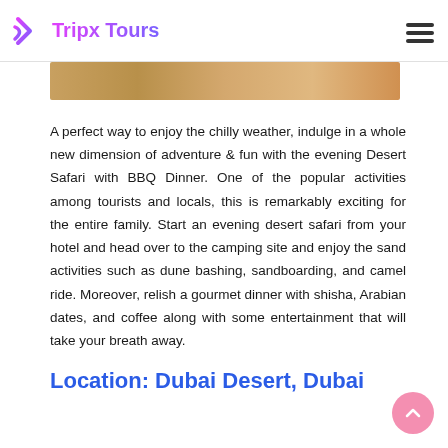Tripx Tours
[Figure (photo): Partial view of a desert safari scene, cropped at the top of the page]
A perfect way to enjoy the chilly weather, indulge in a whole new dimension of adventure & fun with the evening Desert Safari with BBQ Dinner. One of the popular activities among tourists and locals, this is remarkably exciting for the entire family. Start an evening desert safari from your hotel and head over to the camping site and enjoy the sand activities such as dune bashing, sandboarding, and camel ride. Moreover, relish a gourmet dinner with shisha, Arabian dates, and coffee along with some entertainment that will take your breath away.
Location: Dubai Desert, Dubai